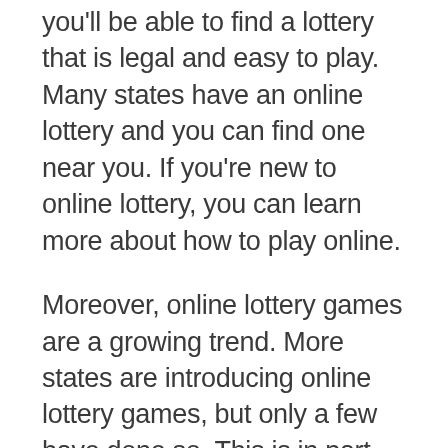you'll be able to find a lottery that is legal and easy to play. Many states have an online lottery and you can find one near you. If you're new to online lottery, you can learn more about how to play online.
Moreover, online lottery games are a growing trend. More states are introducing online lottery games, but only a few have done so. This is in part because the lottery retailers are worried that online purchases could affect their business. Retailers are also worried about losing out on the business, but the fact is that these retailers have not been willing to change their rules. Ultimately, the lottery is a way for everyone to win big money – and there's no better way to win than to play it.